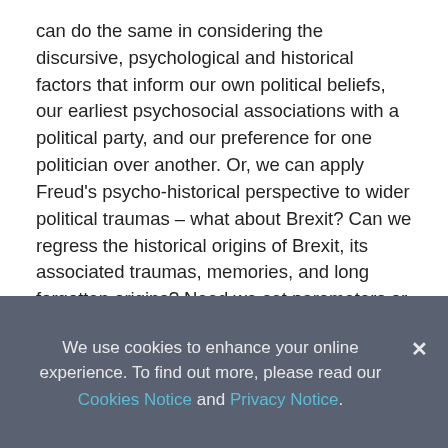can do the same in considering the discursive, psychological and historical factors that inform our own political beliefs, our earliest psychosocial associations with a political party, and our preference for one politician over another. Or, we can apply Freud's psycho-historical perspective to wider political traumas – what about Brexit? Can we regress the historical origins of Brexit, its associated traumas, memories, and long forgotten origins? Need we set parameters or observe historical and historiographical strictures in doing so, or can we, like Freud, explore the non-rational, the archaeology and extent of the unconscious, and the limitlessness of our dreams?
We use cookies to enhance your online experience. To find out more, please read our Cookies Notice and Privacy Notice.